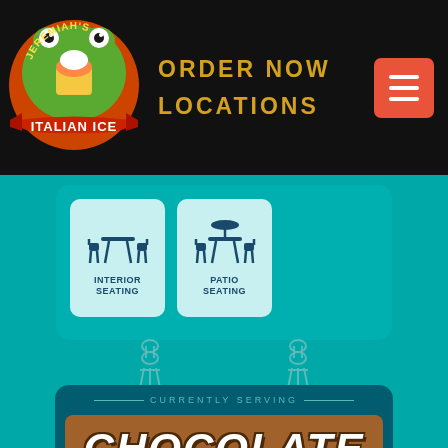[Figure (logo): Jeremiah's Italian Ice logo - frog mascot with ice cream]
ORDER NOW
LOCATIONS
[Figure (illustration): Interior Seating icon - chairs and table]
[Figure (illustration): Patio Seating icon - outdoor chairs and table]
CURRENTLY SERVING
CHOCOLATE
COOKIE BUTTER